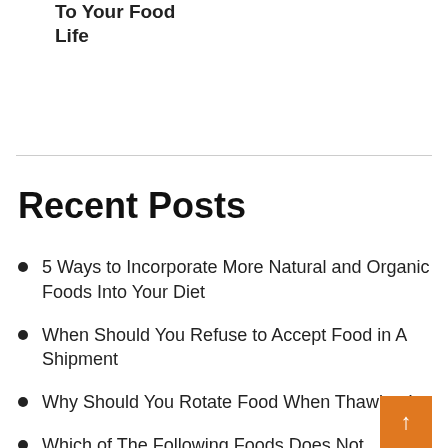To Your Food Life
Recent Posts
5 Ways to Incorporate More Natural and Organic Foods Into Your Diet
When Should You Refuse to Accept Food in A Shipment
Why Should You Rotate Food When Thawing It
Which of The Following Foods Does Not Support Bacteria Growth